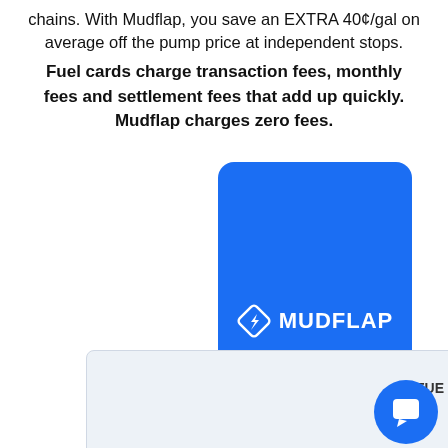chains. With Mudflap, you save an EXTRA 40¢/gal on average off the pump price at independent stops.
Fuel cards charge transaction fees, monthly fees and settlement fees that add up quickly. Mudflap charges zero fees.
[Figure (infographic): Comparison table showing Mudflap (blue highlighted column) vs Fuel Card columns. Row shown: 'Big Discount' with a green checkmark under Mudflap. Partially visible 'FUE' label for fuel card column. A blue chat bubble icon visible at bottom right.]